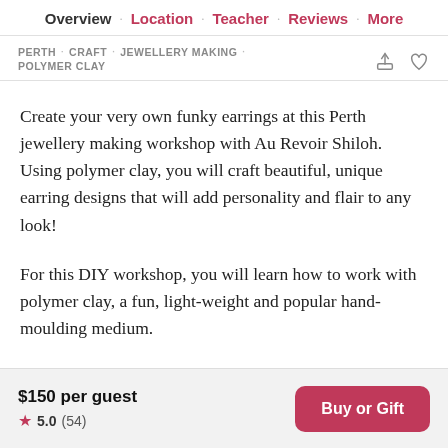Overview · Location · Teacher · Reviews · More
PERTH · CRAFT · JEWELLERY MAKING · POLYMER CLAY
Create your very own funky earrings at this Perth jewellery making workshop with Au Revoir Shiloh. Using polymer clay, you will craft beautiful, unique earring designs that will add personality and flair to any look!
For this DIY workshop, you will learn how to work with polymer clay, a fun, light-weight and popular hand-moulding medium.
$150 per guest ★ 5.0 (54)